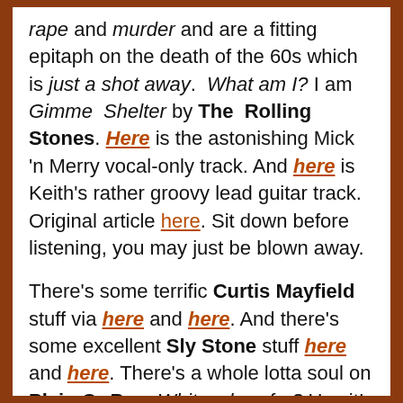rape and murder and are a fitting epitaph on the death of the 60s which is just a shot away. What am I? I am Gimme Shelter by The Rolling Stones. Here is the astonishing Mick 'n Merry vocal-only track. And here is Keith's rather groovy lead guitar track. Original article here. Sit down before listening, you may just be blown away.
There's some terrific Curtis Mayfield stuff via here and here. And there's some excellent Sly Stone stuff here and here. There's a whole lotta soul on Plain Or Pan. Whiteyeherefur? Use it!
It's well documented that Led Zeppelin didn't so much re-write the blues as nick it riff by riff. Rape and murder, indeed. Compare Jimmy Page's Dazed and Confused to the relatively-unknown Jake Holmes' version here. I often contrast and compare the merits of originals v